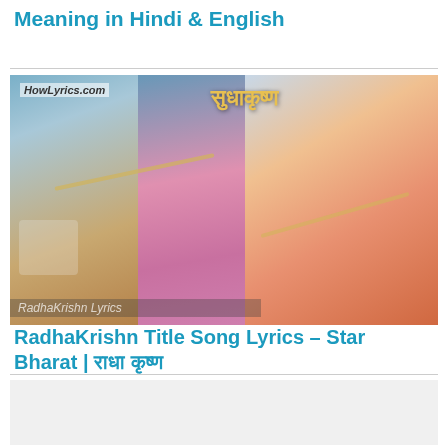Meaning in Hindi & English
[Figure (photo): RadhaKrishn TV show promotional image with characters in traditional attire playing flute, watermark HowLyrics.com, Hindi text overlay]
RadhaKrishn Title Song Lyrics – Star Bharat | राधा कृष्ण
[Figure (other): Advertisement placeholder box with light grey background]